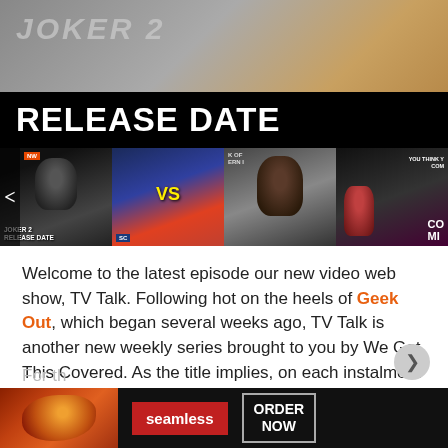[Figure (screenshot): Banner image for 'Joker 2 Release Date' article with large text overlay on dark/orange background]
[Figure (screenshot): Horizontal thumbnail strip with four video thumbnails: Joker 2 Release Date, a VS superhero battle, a dark-skinned person close-up labeled 'K OF ERN', and a comic character with 'YOU THINK COM' text]
Welcome to the latest episode our new video web show, TV Talk. Following hot on the heels of Geek Out, which began several weeks ago, TV Talk is another new weekly series brought to you by We Got This Covered. As the title implies, on each instalment we'll be taking a look at some of our favorite TV shows and bringing you our thoughts on them in a quick, easy to digest video.
For th
[Figure (screenshot): Advertisement banner for Seamless pizza delivery service with pizza image, red Seamless logo, and ORDER NOW button]